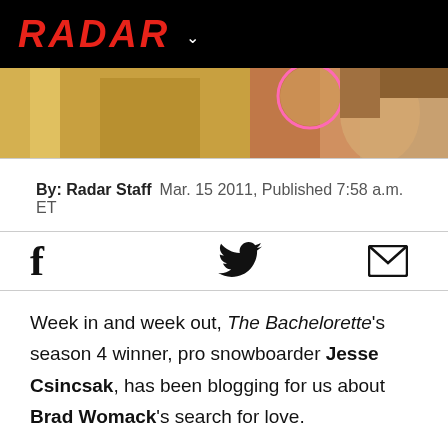RADAR
[Figure (photo): Photo strip showing two people, a blonde woman on the left and a man with brown hair on the right with a pink circular frame element]
By: Radar Staff   Mar. 15 2011, Published 7:58 a.m. ET
[Figure (infographic): Social sharing icons: Facebook f, Twitter bird, envelope/email]
Week in and week out, The Bachelorette's season 4 winner, pro snowboarder Jesse Csincsak, has been blogging for us about Brad Womack's search for love.